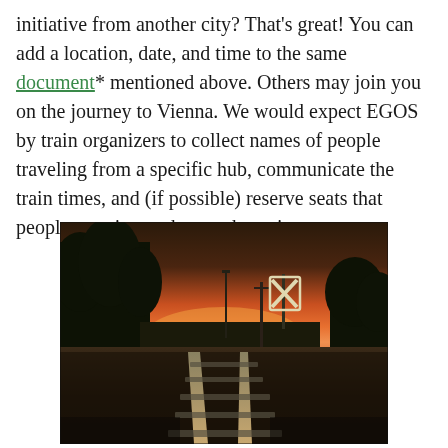initiative from another city? That's great! You can add a location, date, and time to the same document* mentioned above. Others may join you on the journey to Vienna. We would expect EGOS by train organizers to collect names of people traveling from a specific hub, communicate the train times, and (if possible) reserve seats that people can sit together on the train.
[Figure (photo): A photograph of railway tracks leading into the distance at sunset, with an orange-pink sky on the horizon, dark silhouettes of trees on the left, and a railroad crossing sign on the right.]